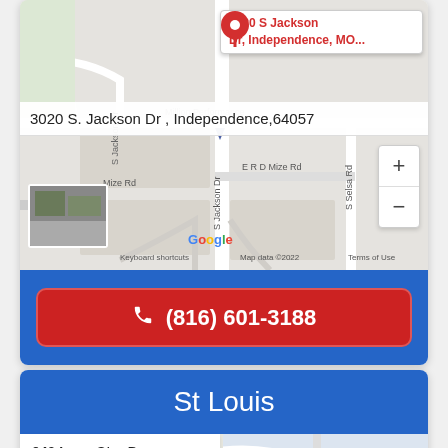[Figure (map): Google Maps screenshot showing location at 3020 S Jackson Dr, Independence, MO with red pin marker, street labels including Mize Rd, E R D Mize Rd, S Jackson Dr, S Selsa Rd, zoom controls, street view thumbnail, and map attribution.]
3020 S Jackson Dr, Independence, MO... (red pin label)
3020 S. Jackson Dr , Independence,64057
(816) 601-3188
St Louis
940 Lone Star Dr
View larger map
Decorating & Design norarily closed